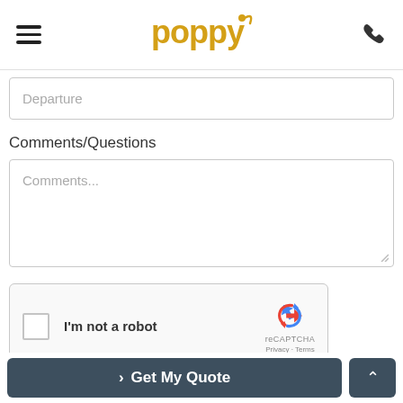Poppy — navigation header with hamburger menu and phone icon
Departure
Comments/Questions
Comments...
[Figure (other): reCAPTCHA widget with checkbox labeled 'I'm not a robot', reCAPTCHA logo, Privacy and Terms links]
I agree to receive information about your rentals, services and specials via phone, email or SMS.
> Get My Quote